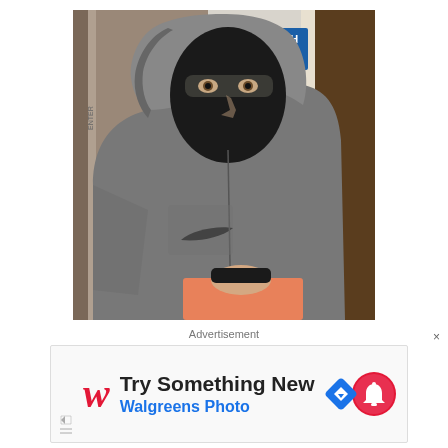[Figure (photo): Surveillance camera still image showing a person wearing a grey Nike hoodie and a black balaclava/ski mask covering their face, standing in front of a store entrance door with various stickers including a blue 'PUSH' sign. Another person in an orange/salmon top is partially visible in the foreground.]
Advertisement
[Figure (screenshot): Advertisement for Walgreens Photo. Shows the Walgreens cursive W logo in red, text 'Try Something New' in bold black and 'Walgreens Photo' in blue, with a blue diamond navigation arrow icon and a red bell notification icon on the right.]